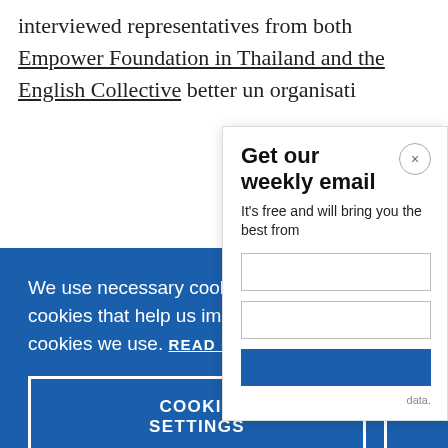interviewed representatives from both Empower Foundation in Thailand and the English Collective better un organisations
[Figure (screenshot): Cookie consent banner overlay in blue with text: 'We use necessary cookies that allow our site to work. We also set optional cookies that help us improve our website. For more information about the types of cookies we use. READ OUR COOKIES POLICY HERE' and two buttons: COOKIE SETTINGS and ALLOW ALL COOKIES]
[Figure (screenshot): Newsletter signup modal overlay: 'Get our weekly email' with close button (x), subtext 'It’s free and will bring you the best from', input fields, and a blue button. Small text: 'data.']
performe